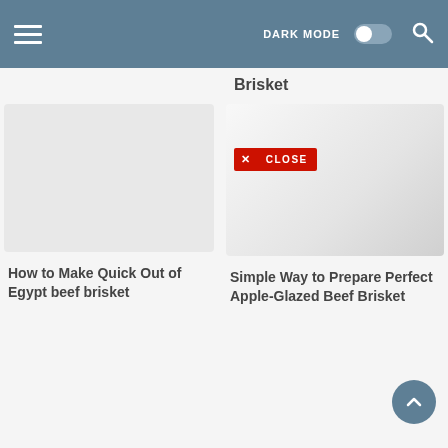DARK MODE [toggle] [search]
Brisket
[Figure (screenshot): Empty card image placeholder on left side]
[Figure (screenshot): Light gray card image for Apple-Glazed Beef Brisket article on right side]
✕ CLOSE
How to Make Quick Out of Egypt beef brisket
Simple Way to Prepare Perfect Apple-Glazed Beef Brisket